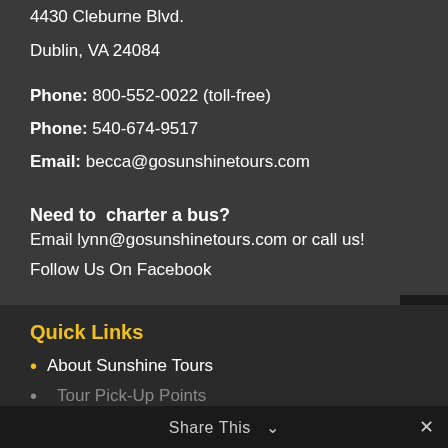4430 Cleburne Blvd.
Dublin, VA 24084
Phone: 800-552-0022 (toll-free)
Phone: 540-674-9517
Email: becca@gosunshinetours.com
Need to  charter a bus?
Email lynn@gosunshinetours.com or call us!
Follow Us On Facebook
Quick Links
About Sunshine Tours
Tour Pick-Up Points